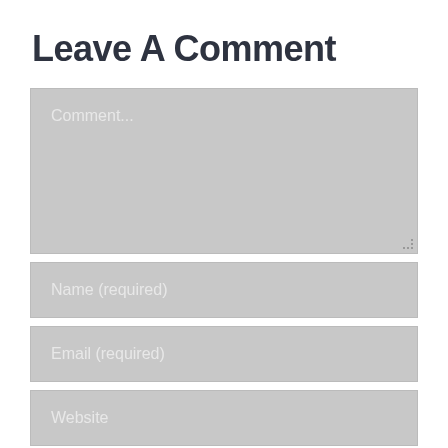Leave A Comment
Comment...
Name (required)
Email (required)
Website